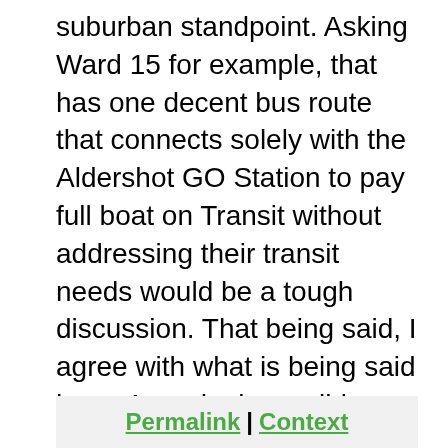suburban standpoint. Asking Ward 15 for example, that has one decent bus route that connects solely with the Aldershot GO Station to pay full boat on Transit without addressing their transit needs would be a tough discussion. That being said, I agree with what is being said here. A gradual, sensible phase in of new rates coupled with a raise in the HSRs budget and an addition of services to justify those new taxes could be feasible. Ultimately I think at least a few current suburban councilors would need to go in order to make this work.
Permalink | Context